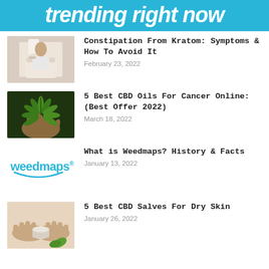trending right now
[Figure (photo): Person holding toilet paper, constipation related image]
Constipation From Kratom: Symptoms & How To Avoid It
February 23, 2022
[Figure (photo): Hand holding cannabis plant with green leaves]
5 Best CBD Oils For Cancer Online: (Best Offer 2022)
March 18, 2022
[Figure (logo): Weedmaps logo in teal/blue color with arc underline]
What is Weedmaps? History & Facts
January 13, 2022
[Figure (photo): Hands holding a small container of CBD salve with green leaves]
5 Best CBD Salves For Dry Skin
January 26, 2022